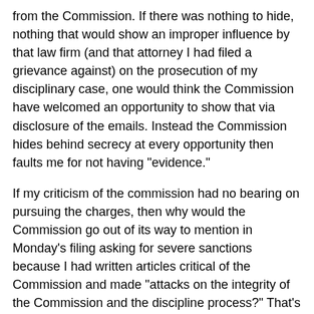from the Commission.  If there was nothing to hide, nothing that would show an improper influence by that law firm (and that attorney I had filed a grievance against) on the prosecution of my disciplinary case, one would think the Commission have welcomed an opportunity to show that via disclosure of the emails.  Instead the Commission hides behind secrecy at every opportunity then faults me for not having "evidence."
If my criticism of the commission had no bearing on pursuing the charges, then why would the Commission go out of its way to mention in Monday's filing asking for severe sanctions because I had written articles critical of the Commission and made "attacks on the integrity of the Commission and the discipline process?"  That's completely irrelevant to the charges.  But indeed that's what this is all about.  You criticize the Disciplinary Commission, then the Commission will make you a target.   The grievances that began this process were filed by none other than Executive Secretary Michael Witte just months after I wrote an article critical of the Disciplinary Commission going almost exclusively after small firm and sole practitioners, in particular 397 times out